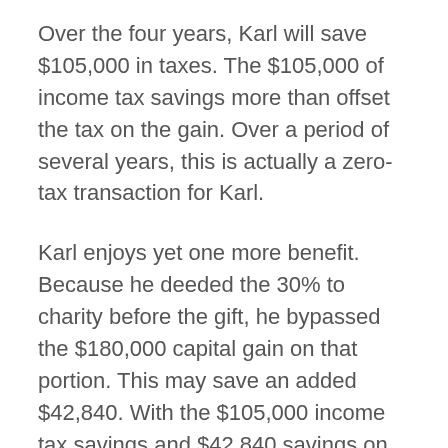Over the four years, Karl will save $105,000 in taxes. The $105,000 of income tax savings more than offset the tax on the gain. Over a period of several years, this is actually a zero-tax transaction for Karl.
Karl enjoys yet one more benefit. Because he deeded the 30% to charity before the gift, he bypassed the $180,000 capital gain on that portion. This may save an added $42,840. With the $105,000 income tax savings and $42,840 savings on the bypass of capital gain, Karl's total tax savings would be $147,840.